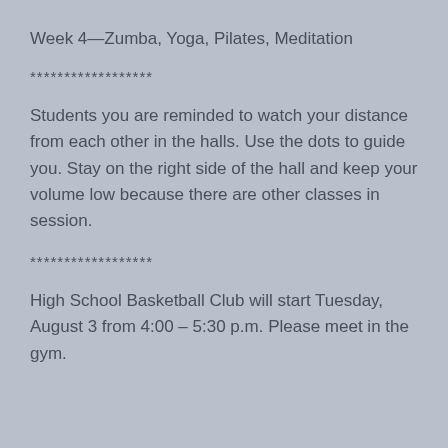Week 4—Zumba, Yoga, Pilates, Meditation
******************
Students you are reminded to watch your distance from each other in the halls. Use the dots to guide you. Stay on the right side of the hall and keep your volume low because there are other classes in session.
******************
High School Basketball Club will start Tuesday, August 3 from 4:00 – 5:30 p.m. Please meet in the gym.